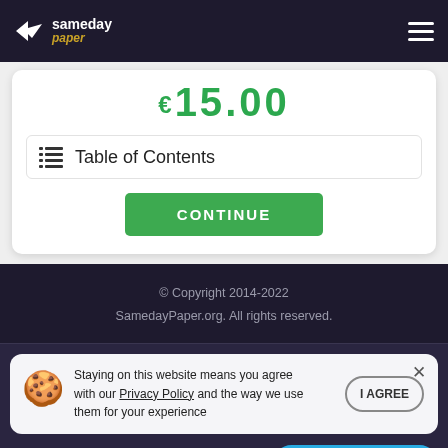sameday paper
€15.00
Table of Contents
CONTINUE
© Copyright 2014-2022 SamedayPaper.org. All rights reserved.
Staying on this website means you agree with our Privacy Policy and the way we use them for your experience
I AGREE
Ask Us anything!